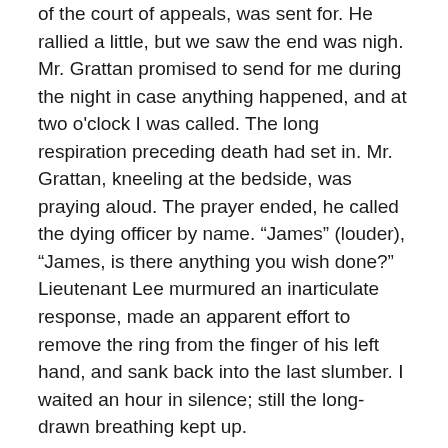of the court of appeals, was sent for. He rallied a little, but we saw the end was nigh. Mr. Grattan promised to send for me during the night in case anything happened, and at two o'clock I was called. The long respiration preceding death had set in. Mr. Grattan, kneeling at the bedside, was praying aloud. The prayer ended, he called the dying officer by name. “James” (louder), “James, is there anything you wish done?” Lieutenant Lee murmured an inarticulate response, made an apparent effort to remove the ring from the finger of his left hand, and sank back into the last slumber. I waited an hour in silence; still the long-drawn breathing kept up.
“No need to wait longer,” said Mr. Grattan; “he will not rouse any more.”
I went to my pallet in the garret, but could not sleep; at dawn I was down again. The long-drawn ting continued. Mr.